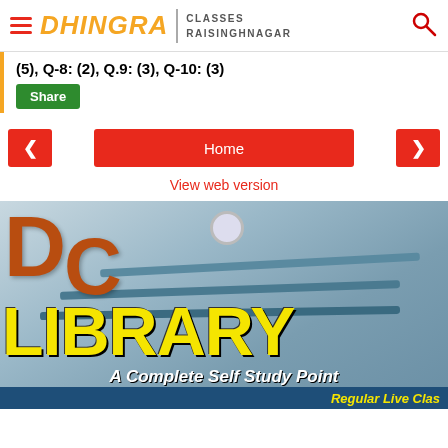DHINGRA CLASSES RAISINGHNAGAR
(5), Q-8: (2), Q.9: (3), Q-10: (3)
Share
Home
View web version
[Figure (photo): DC Library banner image showing a classroom with students and the text 'DC LIBRARY A Complete Self Study Point' with 'Regular Live Classes' at the bottom. The DC letters are in brown/orange, LIBRARY is in yellow, and the subtitle is in white on a blue background bar.]